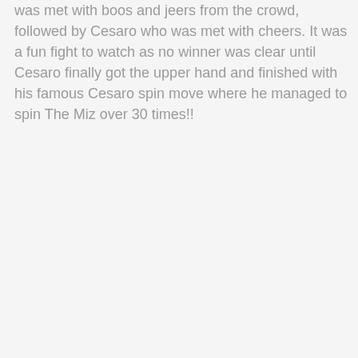was met with boos and jeers from the crowd, followed by Cesaro who was met with cheers. It was a fun fight to watch as no winner was clear until Cesaro finally got the upper hand and finished with his famous Cesaro spin move where he managed to spin The Miz over 30 times!!